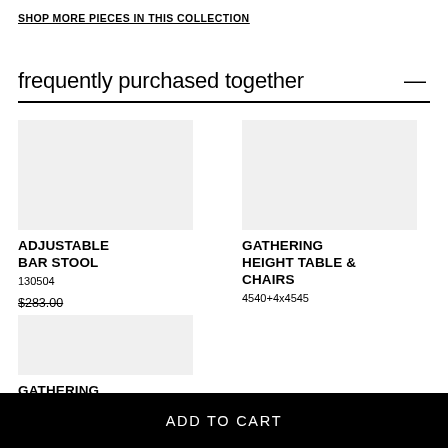SHOP MORE PIECES IN THIS COLLECTION
frequently purchased together
ADJUSTABLE BAR STOOL
130504
$283.00
$226.00
GATHERING HEIGHT TABLE & CHAIRS
4540+4x4545
GATHERING HEIGHT TABLE
4540
ADD TO CART